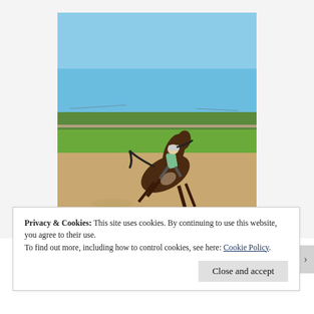[Figure (photo): A rider on a rearing or bucking brown horse in an outdoor sand arena, with green grass, trees, and a fence visible in the background under a clear blue sky.]
Privacy & Cookies: This site uses cookies. By continuing to use this website, you agree to their use.
To find out more, including how to control cookies, see here: Cookie Policy
Close and accept